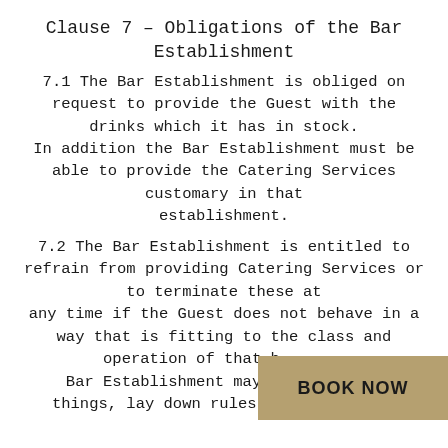Clause 7 – Obligations of the Bar Establishment
7.1 The Bar Establishment is obliged on request to provide the Guest with the drinks which it has in stock. In addition the Bar Establishment must be able to provide the Catering Services customary in that establishment.
7.2 The Bar Establishment is entitled to refrain from providing Catering Services or to terminate these at any time if the Guest does not behave in a way that is fitting to the class and operation of that b... Bar Establishment may, among other things, lay down rules concerning the